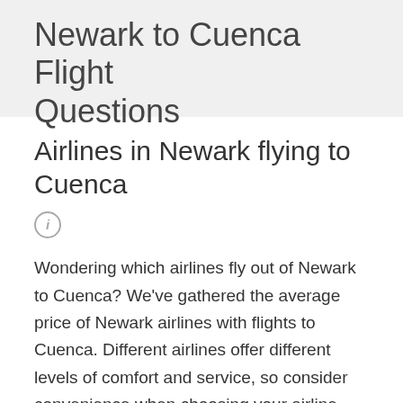Newark to Cuenca Flight Questions
Airlines in Newark flying to Cuenca
Wondering which airlines fly out of Newark to Cuenca? We've gathered the average price of Newark airlines with flights to Cuenca. Different airlines offer different levels of comfort and service, so consider convenience when choosing your airline.